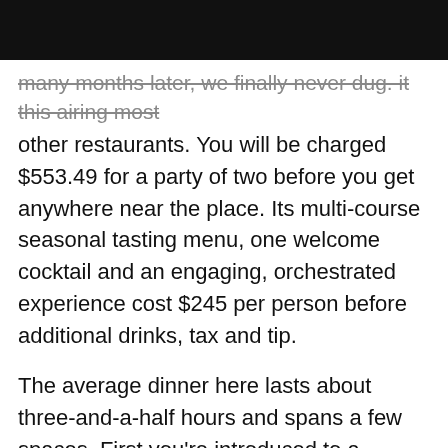many months later, we finally never dug. it this airing most other restaurants. You will be charged $553.49 for a party of two before you get anywhere near the place. Its multi-course seasonal tasting menu, one welcome cocktail and an engaging, orchestrated experience cost $245 per person before additional drinks, tax and tip.
The average dinner here lasts about three-and-a-half hours and spans a few spaces. First you're introduced to a bartender, who makes drinks with subtle variations on the classics like martinis with special vermouth blends and Manhattans with notes of brown butter and lavender. You'll sip them on the terrace, where the view across a wide stretch of the East River to Brooklyn and beyond provides a disarming sensation of being anchored to, yet totally untethered from the city.